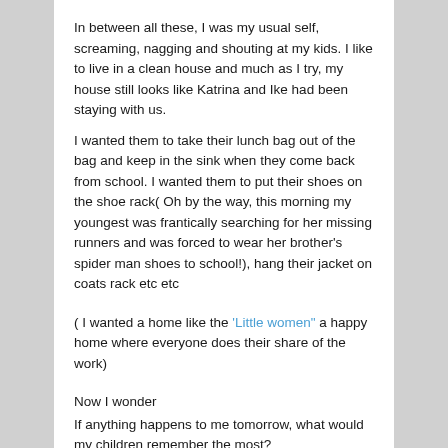In between all these, I was my usual self, screaming, nagging and shouting at my kids. I like to live in a clean house and much as I try, my house still looks like Katrina and Ike had been staying with us.
I wanted them to take their lunch bag out of the bag and keep in the sink when they come back from school. I wanted them to put their shoes on the shoe rack( Oh by the way, this morning my youngest was frantically searching for her missing runners and was forced to wear her brother's spider man shoes to school!), hang their jacket on coats rack etc etc
( I wanted a home like the 'Little women" a happy home where everyone does their share of the work)
Now I wonder
If anything happens to me tomorrow, what would my children remember the most?
Would they think how much their mother nagged them?
Why does some one's impression of me having a messy